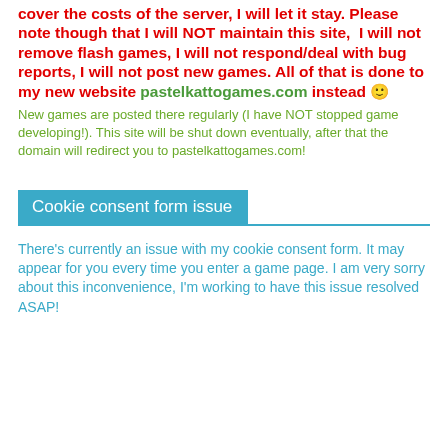cover the costs of the server, I will let it stay. Please note though that I will NOT maintain this site, I will not remove flash games, I will not respond/deal with bug reports, I will not post new games. All of that is done to my new website pastelkattogames.com instead 🙂
New games are posted there regularly (I have NOT stopped game developing!). This site will be shut down eventually, after that the domain will redirect you to pastelkattogames.com!
Cookie consent form issue
There's currently an issue with my cookie consent form. It may appear for you every time you enter a game page. I am very sorry about this inconvenience, I'm working to have this issue resolved ASAP!